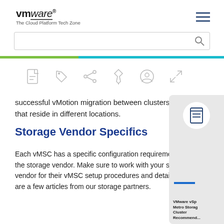[Figure (logo): VMware logo with text 'vm|ware' and tagline 'The Cloud Platform Tech Zone']
[Figure (screenshot): Search bar with magnifying glass icon]
[Figure (infographic): Toolbar with six icons: PDF, tag, share, pin, user, expand]
successful vMotion migration between clusters that reside in different locations.
Storage Vendor Specifics
Each vMSC has a specific configuration requirement from the storage vendor. Make sure to work with your storage vendor for their vMSC setup procedures and details. Below are a few articles from our storage partners.
[Figure (infographic): Side panel with book/document icon, blue bar, and partial TOC text 'VMware vSphere Metro Storage Cluster Recommend...']